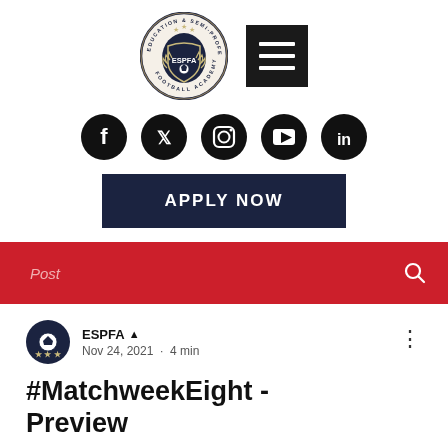[Figure (logo): ESPFA Education & Semi-Professional Football Academy circular logo with shield emblem]
[Figure (infographic): Black hamburger menu icon box]
[Figure (infographic): Social media icons row: Facebook, Twitter, Instagram, YouTube, LinkedIn]
APPLY NOW
Post
ESPFA
Nov 24, 2021  •  4 min
#MatchweekEight - Preview